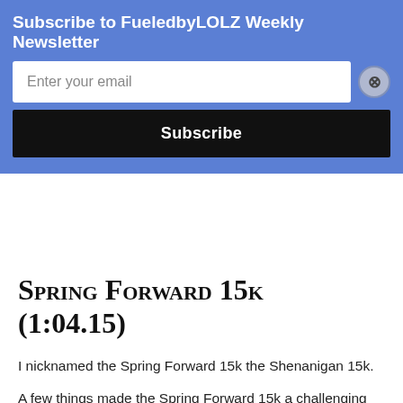Subscribe to FueledbyLOLZ Weekly Newsletter
Spring Forward 15k (1:04.15)
I nicknamed the Spring Forward 15k the Shenanigan 15k.
A few things made the Spring Forward 15k a challenging race:
The Spring Forward 15k is already a challenging course.
I am still recovering from my half marathon.
I ran 70 miles in Texas last week, including a 12 mile run up a mountain chased by a 15 mile run on the trails the next day.